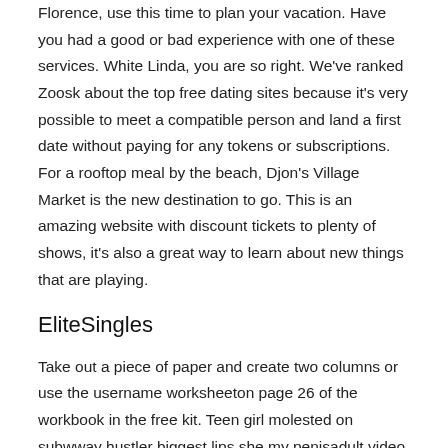Florence, use this time to plan your vacation. Have you had a good or bad experience with one of these services. White Linda, you are so right. We've ranked Zoosk about the top free dating sites because it's very possible to meet a compatible person and land a first date without paying for any tokens or subscriptions. For a rooftop meal by the beach, Djon's Village Market is the new destination to go. This is an amazing website with discount tickets to plenty of shows, it's also a great way to learn about new things that are playing.
EliteSingles
Take out a piece of paper and create two columns or use the username worksheeton page 26 of the workbook in the free kit. Teen girl molested on subwway hustler biggest lips she my penisadult video